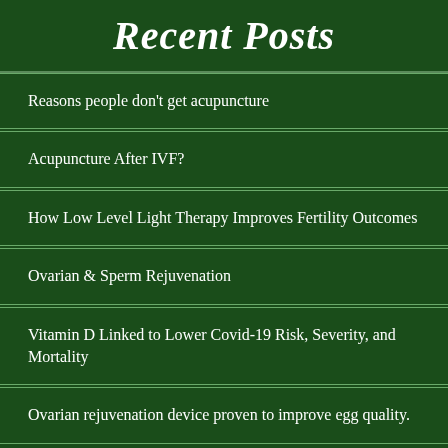Recent Posts
Reasons people don't get acupuncture
Acupuncture After IVF?
How Low Level Light Therapy Improves Fertility Outcomes
Ovarian & Sperm Rejuvenation
Vitamin D Linked to Lower Covid-19 Risk, Severity, and Mortality
Ovarian rejuvenation device proven to improve egg quality.